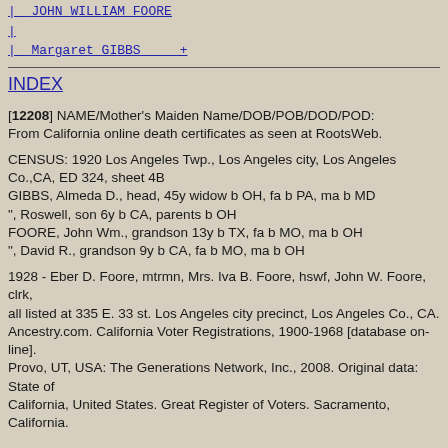| JOHN WILLIAM FOORE
|
|_ Margaret GIBBS    +
INDEX
[12208] NAME/Mother's Maiden Name/DOB/POB/DOD/POD: From California online death certificates as seen at RootsWeb.
CENSUS: 1920 Los Angeles Twp., Los Angeles city, Los Angeles Co.,CA, ED 324, sheet 4B
GIBBS, Almeda D., head, 45y widow b OH, fa b PA, ma b MD
", Roswell, son 6y b CA, parents b OH
FOORE, John Wm., grandson 13y b TX, fa b MO, ma b OH
", David R., grandson 9y b CA, fa b MO, ma b OH
1928 - Eber D. Foore, mtrmn, Mrs. Iva B. Foore, hswf, John W. Foore, clrk,
all listed at 335 E. 33 st. Los Angeles city precinct, Los Angeles Co., CA.
Ancestry.com. California Voter Registrations, 1900-1968 [database on-line].
Provo, UT, USA: The Generations Network, Inc., 2008. Original data: State of
California, United States. Great Register of Voters. Sacramento, California.